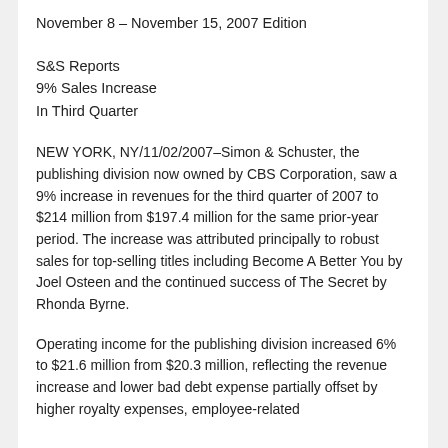November 8 – November 15, 2007 Edition
S&S Reports
9% Sales Increase
In Third Quarter
NEW YORK, NY/11/02/2007–Simon & Schuster, the publishing division now owned by CBS Corporation, saw a 9% increase in revenues for the third quarter of 2007 to $214 million from $197.4 million for the same prior-year period. The increase was attributed principally to robust sales for top-selling titles including Become A Better You by Joel Osteen and the continued success of The Secret by Rhonda Byrne.
Operating income for the publishing division increased 6% to $21.6 million from $20.3 million, reflecting the revenue increase and lower bad debt expense partially offset by higher royalty expenses, employee-related